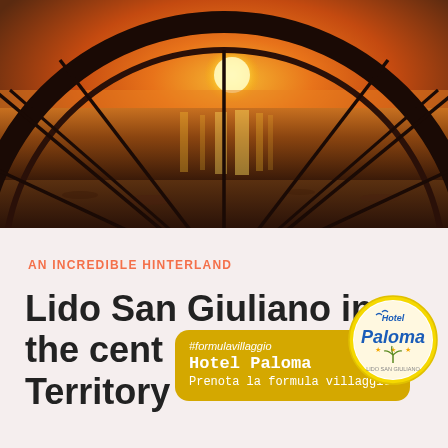[Figure (photo): Bicycle wheel silhouette against a dramatic sunset over the sea, viewed from beach level, with spoke lines radiating from hub, orange and golden sky reflected on water]
AN INCREDIBLE HINTERLAND
Lido San Giuliano in the centre of Territory
[Figure (infographic): Golden rounded rectangle overlay with #formulavillaggio hashtag, Hotel Paloma text, and Prenota la formula villaggio call to action, alongside Hotel Paloma circular logo with stars]
[Figure (logo): Hotel Paloma circular logo with yellow border, blue text Hotel Paloma, stars, palm tree and seagulls graphic, Lido San Giuliano text below]